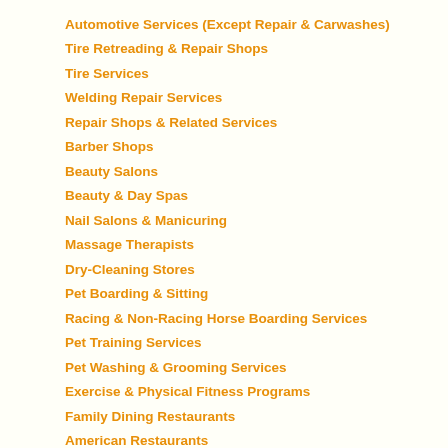Automotive Services (Except Repair & Carwashes)
Tire Retreading & Repair Shops
Tire Services
Welding Repair Services
Repair Shops & Related Services
Barber Shops
Beauty Salons
Beauty & Day Spas
Nail Salons & Manicuring
Massage Therapists
Dry-Cleaning Stores
Pet Boarding & Sitting
Racing & Non-Racing Horse Boarding Services
Pet Training Services
Pet Washing & Grooming Services
Exercise & Physical Fitness Programs
Family Dining Restaurants
American Restaurants